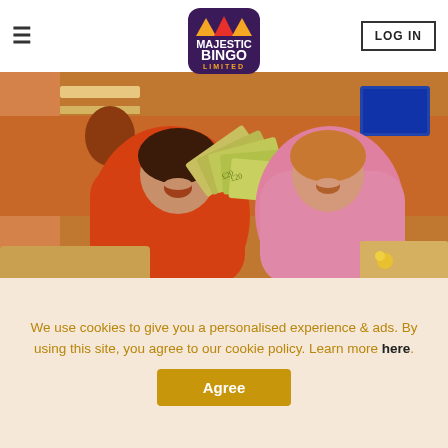≡  MAJESTIC BINGO LIMITED  LOG IN
[Figure (photo): Two women at a bingo hall, one in an orange dress holding a large fan of banknotes, both smiling and laughing.]
News
BIG WHEELS WIN ALERT! 🎉
We use cookies to give you a personalised experience & ads. By using this site, you agree to our cookie policy. Learn more here.
Agree